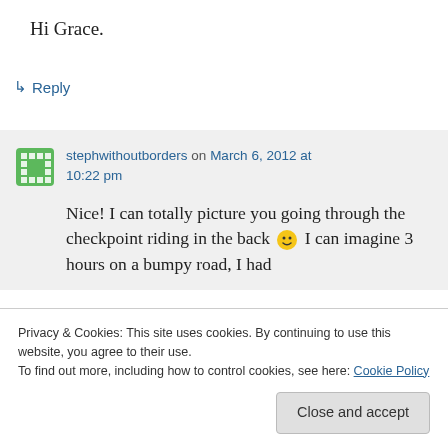Hi Grace.
↳ Reply
stephwithoutborders on March 6, 2012 at 10:22 pm
Nice! I can totally picture you going through the checkpoint riding in the back 🙂 I can imagine 3 hours on a bumpy road, I had
Privacy & Cookies: This site uses cookies. By continuing to use this website, you agree to their use.
To find out more, including how to control cookies, see here: Cookie Policy
Close and accept